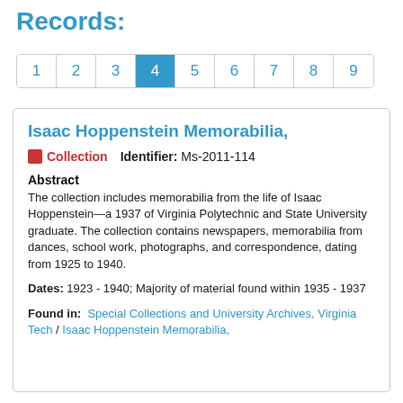Records:
1 2 3 4 5 6 7 8 9 (pagination, page 4 active)
Isaac Hoppenstein Memorabilia,
Collection  Identifier: Ms-2011-114
Abstract
The collection includes memorabilia from the life of Isaac Hoppenstein—a 1937 of Virginia Polytechnic and State University graduate. The collection contains newspapers, memorabilia from dances, school work, photographs, and correspondence, dating from 1925 to 1940.
Dates: 1923 - 1940; Majority of material found within 1935 - 1937
Found in: Special Collections and University Archives, Virginia Tech / Isaac Hoppenstein Memorabilia,